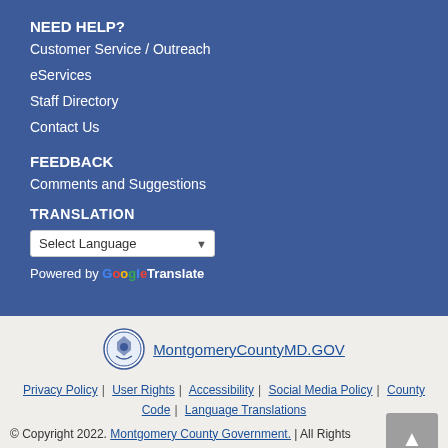NEED HELP?
Customer Service / Outreach
eServices
Staff Directory
Contact Us
FEEDBACK
Comments and Suggestions
TRANSLATION
Select Language
Powered by Google Translate
[Figure (logo): Montgomery County seal/logo]
MontgomeryCountyMD.GOV
Privacy Policy | User Rights | Accessibility | Social Media Policy | County Code | Language Translations
© Copyright 2022. Montgomery County Government. | All Rights Reserved.